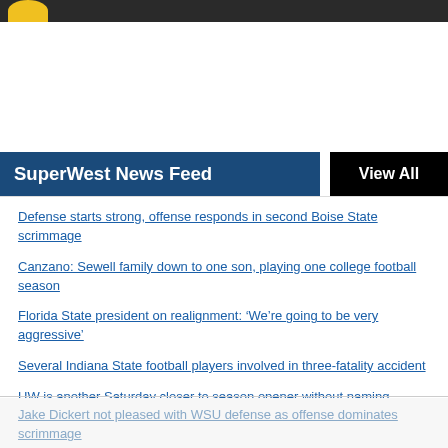SuperWest News Feed | View All
Defense starts strong, offense responds in second Boise State scrimmage
Canzano: Sewell family down to one son, playing one college football season
Florida State president on realignment: ‘We’re going to be very aggressive’
Several Indiana State football players involved in three-fatality accident
UW is another Saturday closer to season opener without naming starting QB
Jake Dickert not pleased with WSU defense as offense dominates scrimmage